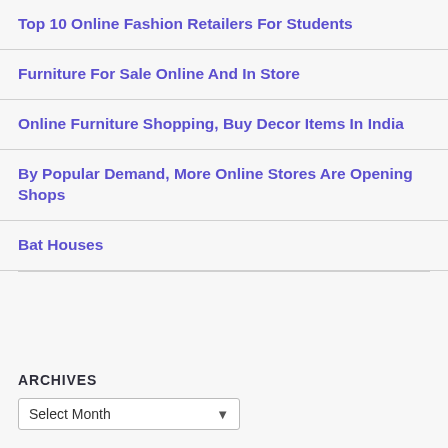Top 10 Online Fashion Retailers For Students
Furniture For Sale Online And In Store
Online Furniture Shopping, Buy Decor Items In India
By Popular Demand, More Online Stores Are Opening Shops
Bat Houses
ARCHIVES
Select Month